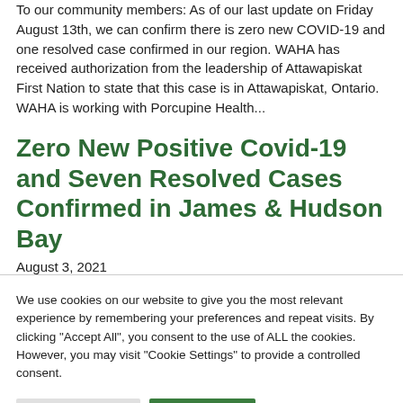To our community members: As of our last update on Friday August 13th, we can confirm there is zero new COVID-19 and one resolved case confirmed in our region. WAHA has received authorization from the leadership of Attawapiskat First Nation to state that this case is in Attawapiskat, Ontario. WAHA is working with Porcupine Health...
Zero New Positive Covid-19 and Seven Resolved Cases Confirmed in James & Hudson Bay
August 3, 2021
We use cookies on our website to give you the most relevant experience by remembering your preferences and repeat visits. By clicking "Accept All", you consent to the use of ALL the cookies. However, you may visit "Cookie Settings" to provide a controlled consent.